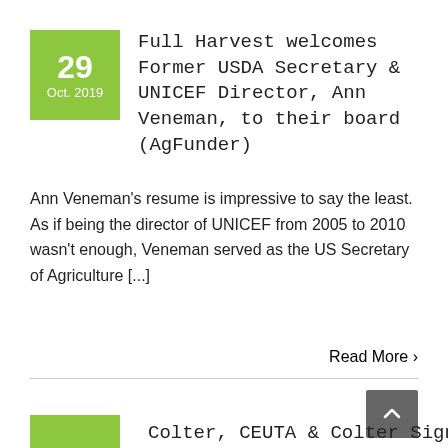Full Harvest welcomes Former USDA Secretary & UNICEF Director, Ann Veneman, to their board (AgFunder)
Ann Veneman's resume is impressive to say the least. As if being the director of UNICEF from 2005 to 2010 wasn't enough, Veneman served as the US Secretary of Agriculture [...]
Read More ›
Colter, CEUTA & Colter Sign…